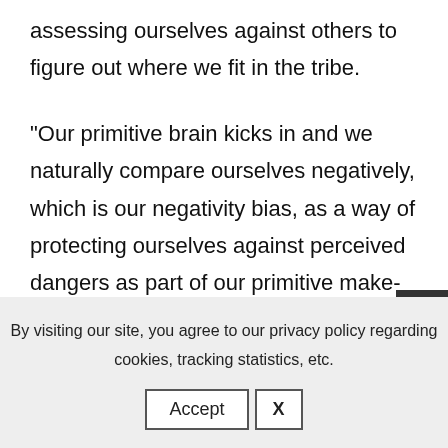assessing ourselves against others to figure out where we fit in the tribe.
“Our primitive brain kicks in and we naturally compare ourselves negatively, which is our negativity bias, as a way of protecting ourselves against perceived dangers as part of our primitive make-up.
“The difference is this that for some people this
By visiting our site, you agree to our privacy policy regarding cookies, tracking statistics, etc.